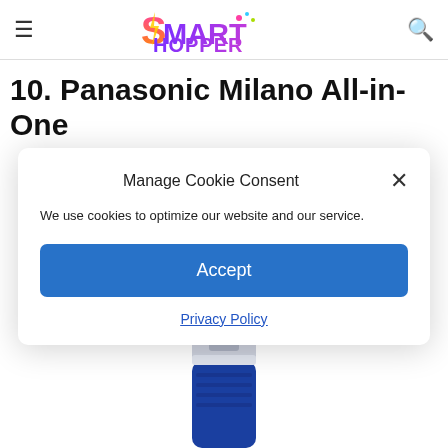Smart Hopper — navigation bar with hamburger menu and search icon
10. Panasonic Milano All-in-One
Manage Cookie Consent
We use cookies to optimize our website and our service.
Accept
Privacy Policy
[Figure (photo): Top portion of a Panasonic Milano All-in-One groomer/trimmer, blue and silver body with comb attachment, visible at the bottom of the page behind the cookie modal]